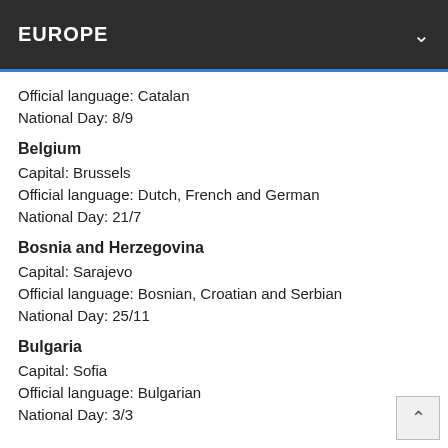EUROPE
Official language: Catalan
National Day: 8/9
Belgium
Capital: Brussels
Official language: Dutch, French and German
National Day: 21/7
Bosnia and Herzegovina
Capital: Sarajevo
Official language: Bosnian, Croatian and Serbian
National Day: 25/11
Bulgaria
Capital: Sofia
Official language: Bulgarian
National Day: 3/3